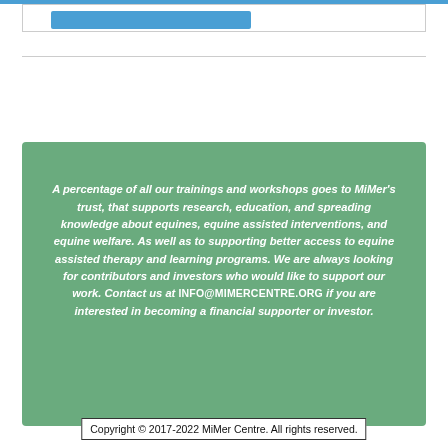A percentage of all our trainings and workshops goes to MiMer's trust, that supports research, education, and spreading knowledge about equines, equine assisted interventions, and equine welfare. As well as to supporting better access to equine assisted therapy and learning programs. We are always looking for contributors and investors who would like to support our work. Contact us at INFO@MIMERCENTRE.ORG if you are interested in becoming a financial supporter or investor.
Copyright © 2017-2022 MiMer Centre. All rights reserved.